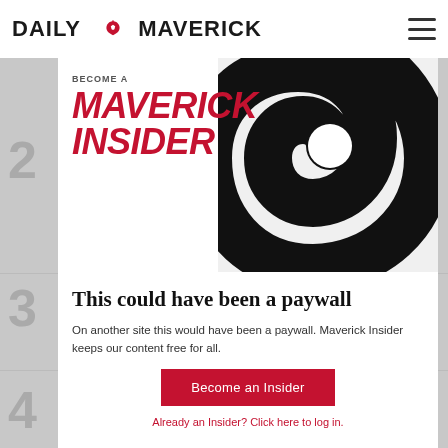DAILY MAVERICK
[Figure (illustration): Become a Maverick Insider promotional banner with red bold text on white background and a black swirl graphic on the right side. Text reads 'BECOME A MAVERICK INSIDER' with MAVERICK and INSIDER in large red italic bold capitals.]
This could have been a paywall
On another site this would have been a paywall. Maverick Insider keeps our content free for all.
Become an Insider
Already an Insider? Click here to log in.